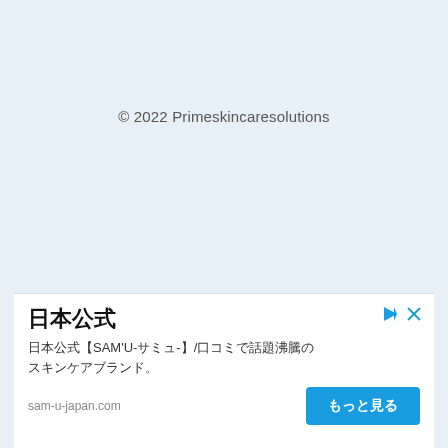© 2022 Primeskincaresolutions
[Figure (other): Advertisement banner for 日本公式 SAM'U skincare brand with call-to-action button]
日本公式
日本公式【SAM'U-サミュ-】/口コミで話題沸騰のスキンケアブランド。
sam-u-japan.com
もっと見る